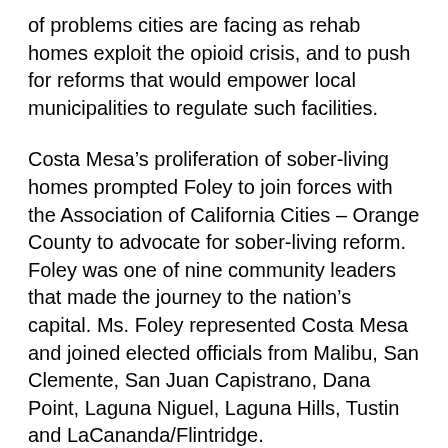of problems cities are facing as rehab homes exploit the opioid crisis, and to push for reforms that would empower local municipalities to regulate such facilities.
Costa Mesa’s proliferation of sober-living homes prompted Foley to join forces with the Association of California Cities – Orange County to advocate for sober-living reform. Foley was one of nine community leaders that made the journey to the nation’s capital. Ms. Foley represented Costa Mesa and joined elected officials from Malibu, San Clemente, San Juan Capistrano, Dana Point, Laguna Niguel, Laguna Hills, Tustin and LaCananda/Flintridge.
From 2012-2016, Costa Mesa became the hub for the sober-living rehab industry in Orange County. Foley has been working feverishly with other